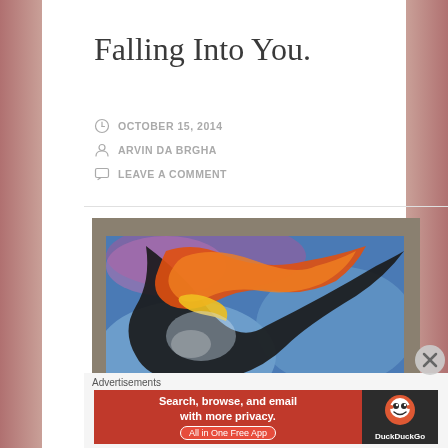Falling Into You.
OCTOBER 15, 2014
ARVIN DA BRGHA
LEAVE A COMMENT
[Figure (illustration): Abstract painting with swirling orange, red, black, blue and purple colors on canvas, displayed against a grey background]
Advertisements
[Figure (screenshot): DuckDuckGo advertisement banner: Search, browse, and email with more privacy. All in One Free App]